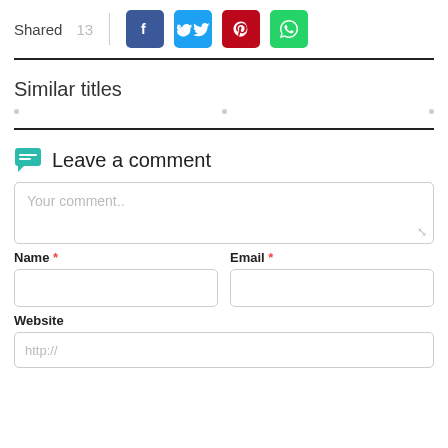Shared 13
[Figure (infographic): Social share buttons: Facebook (blue), Twitter (light blue), Pinterest (red), WhatsApp (green)]
Similar titles
Leave a comment
Your comment..
Name *
Email *
Website
http://